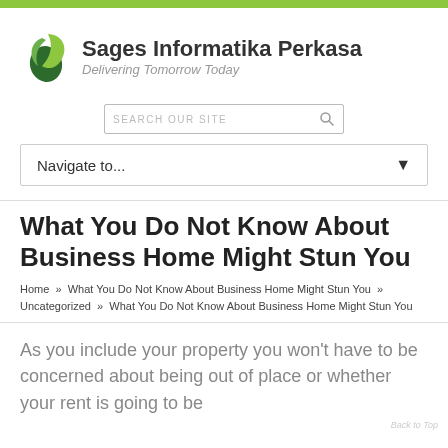[Figure (logo): Sages Informatika Perkasa logo with green leaf/swirl icon and company name. Tagline: Delivering Tomorrow Today]
[Figure (other): Search box with placeholder text SEARCH OUR SITE and a search icon]
[Figure (other): Navigation dropdown with label Navigate to... and a chevron arrow]
What You Do Not Know About Business Home Might Stun You
Home » What You Do Not Know About Business Home Might Stun You » Uncategorized » What You Do Not Know About Business Home Might Stun You
As you include your property you won't have to be concerned about being out of place or whether your rent is going to be